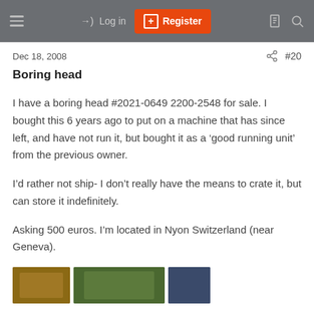≡  → Log in  [+] Register  □  🔍
Dec 18, 2008  #20
Boring head
I have a boring head #2021-0649 2200-2548 for sale. I bought this 6 years ago to put on a machine that has since left, and have not run it, but bought it as a 'good running unit' from the previous owner.
I'd rather not ship- I don't really have the means to crate it, but can store it indefinitely.
Asking 500 euros. I'm located in Nyon Switzerland (near Geneva).
[Figure (photo): Thumbnail images of the boring head item for sale]